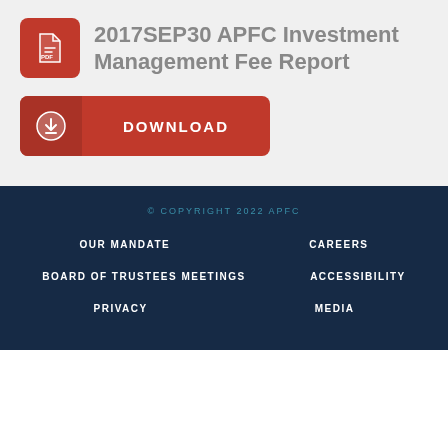2017SEP30 APFC Investment Management Fee Report
[Figure (other): Red download button with download arrow icon and text DOWNLOAD]
© COPYRIGHT 2022 APFC
OUR MANDATE
CAREERS
BOARD OF TRUSTEES MEETINGS
ACCESSIBILITY
PRIVACY
MEDIA